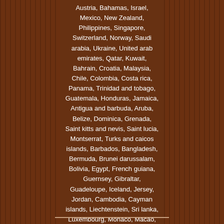Austria, Bahamas, Israel, Mexico, New Zealand, Philippines, Singapore, Switzerland, Norway, Saudi arabia, Ukraine, United arab emirates, Qatar, Kuwait, Bahrain, Croatia, Malaysia, Chile, Colombia, Costa rica, Panama, Trinidad and tobago, Guatemala, Honduras, Jamaica, Antigua and barbuda, Aruba, Belize, Dominica, Grenada, Saint kitts and nevis, Saint lucia, Montserrat, Turks and caicos islands, Barbados, Bangladesh, Bermuda, Brunei darussalam, Bolivia, Egypt, French guiana, Guernsey, Gibraltar, Guadeloupe, Iceland, Jersey, Jordan, Cambodia, Cayman islands, Liechtenstein, Sri lanka, Luxembourg, Monaco, Macao, Martinique, Maldives, Nicaragua, Oman, Pakistan, Paraguay, Reunion, Uruguay.
Brand: Leica Focal Length: 35-70mm Series: Leica VARIO-ELMAR-R Maximum Aperture: f/3
[Figure (screenshot): A button/link with text 'More info on eBay...' styled with a light blue border on a dark brown background]
[Figure (infographic): Social media sharing icons: Facebook (blue), Twitter (light blue), Pinterest (red), Email (grey)]